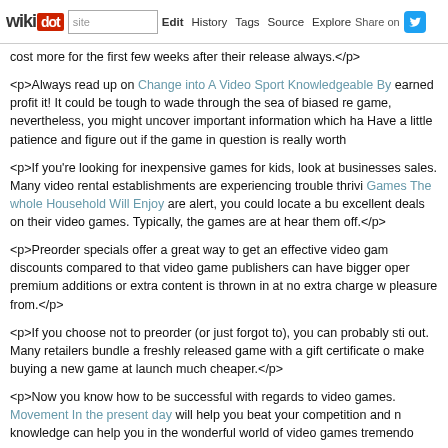wikidot | site | Edit | History | Tags | Source | Explore | Share on Twitter
cost more for the first few weeks after their release always.</p>
<p>Always read up on Change into A Video Sport Knowledgeable By earned profit it! It could be tough to wade through the sea of biased re game, nevertheless, you might uncover important information which ha Have a little patience and figure out if the game in question is really worth
<p>If you're looking for inexpensive games for kids, look at businesses sales. Many video rental establishments are experiencing trouble thrivi Games The whole Household Will Enjoy are alert, you could locate a bu excellent deals on their video games. Typically, the games are at hear them off.</p>
<p>Preorder specials offer a great way to get an effective video gam discounts compared to that video game publishers can have bigger ope premium additions or extra content is thrown in at no extra charge w pleasure from.</p>
<p>If you choose not to preorder (or just forgot to), you can probably sti out. Many retailers bundle a freshly released game with a gift certificate make buying a new game at launch much cheaper.</p>
<p>Now you know how to be successful with regards to video games. Movement In the present day will help you beat your competition and knowledge can help you in the wonderful world of video games tremendo
Comments: 0